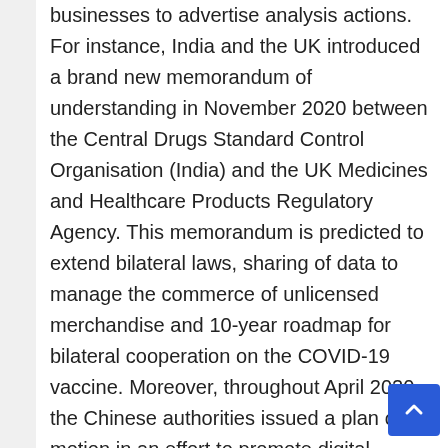businesses to advertise analysis actions. For instance, India and the UK introduced a brand new memorandum of understanding in November 2020 between the Central Drugs Standard Control Organisation (India) and the UK Medicines and Healthcare Products Regulatory Agency. This memorandum is predicted to extend bilateral laws, sharing of data to manage the commerce of unlicensed merchandise and 10-year roadmap for bilateral cooperation on the COVID-19 vaccine. Moreover, throughout April 2020 the Chinese authorities issued a plan of motion in an effort to promote digital medical trials. Apart from help from governmental businesses to advertise decentralized medical trials, pharmaceutical corporations working within the Asia-Pacific are